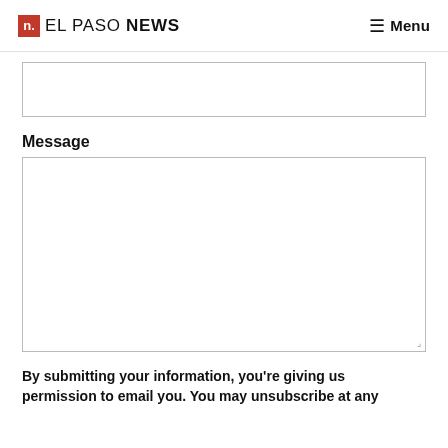n. EL PASO NEWS  Menu
[Figure (other): Input text field (empty)]
Message
[Figure (other): Large message textarea (empty, resizable)]
By submitting your information, you're giving us permission to email you. You may unsubscribe at any